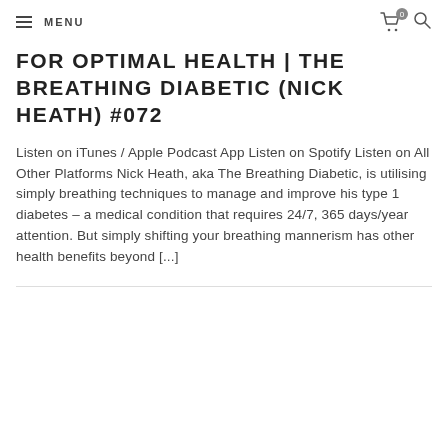MENU
FOR OPTIMAL HEALTH | THE BREATHING DIABETIC (NICK HEATH) #072
Listen on iTunes / Apple Podcast App Listen on Spotify Listen on All Other Platforms Nick Heath, aka The Breathing Diabetic, is utilising simply breathing techniques to manage and improve his type 1 diabetes – a medical condition that requires 24/7, 365 days/year attention. But simply shifting your breathing mannerism has other health benefits beyond [...]